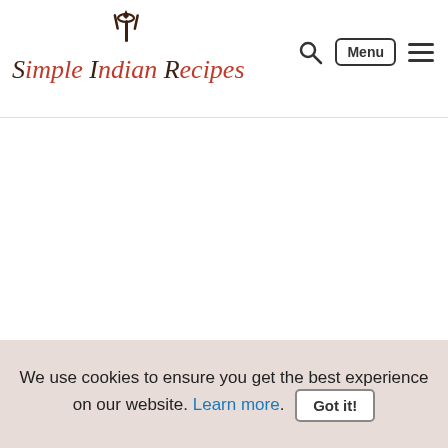Simple Indian Recipes - logo and navigation header with Menu button and hamburger icon
[Figure (illustration): Simple Indian Recipes website logo with decorative fork/spoon icon above text. Text reads 'Simple Indian Recipes' in serif italic font with alternating dark brown and red coloring.]
[Figure (infographic): Four circular dark brown social media share buttons: Facebook (f), Twitter (bird), Yummly (Yum), and Email (envelope icon)]
We use cookies to ensure you get the best experience on our website. Learn more. Got it!